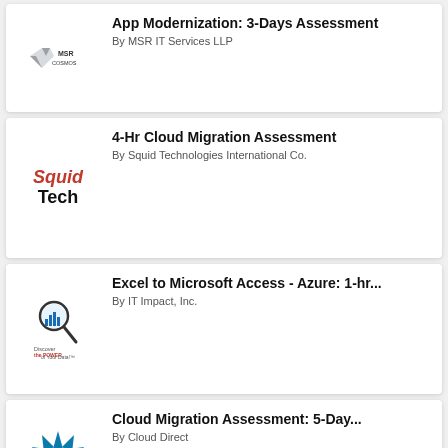[Figure (logo): MSR Cosmos logo]
App Modernization: 3-Days Assessment
By MSR IT Services LLP
[Figure (logo): Squid Tech logo — red italic Squid, bold black Tech]
4-Hr Cloud Migration Assessment
By Squid Technologies International Co.
[Figure (logo): IT Impact Inc. logo — magnifying glass with bar chart, Discover the POWER of Your Data!]
Excel to Microsoft Access - Azure: 1-hr...
By IT Impact, Inc.
[Figure (logo): Cloud Direct logo — blue spiky hedgehog creature]
Cloud Migration Assessment: 5-Day...
By Cloud Direct
[Figure (logo): Blue spiky creature logo (partial)]
ISV Azure Transformation Service: 2 Hour...